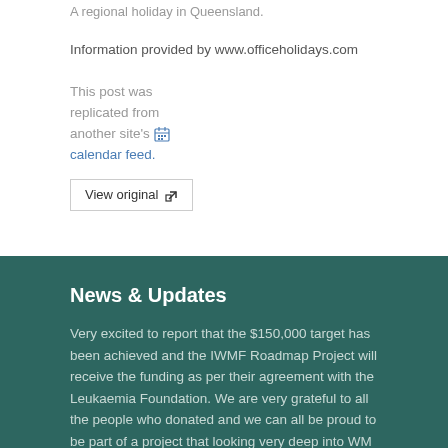A regional holiday in Queensland.
Information provided by www.officeholidays.com
This post was replicated from another site's 🗓 calendar feed.
View original ↗
News & Updates
Very excited to report that the $150,000 target has been achieved and the IWMF Roadmap Project will receive the funding as per their agreement with the Leukaemia Foundation. We are very grateful to all the people who donated and we can all be proud to be part of a project that looking very deep into WM and hopefully will lead to further & better treatments. We also wish to...